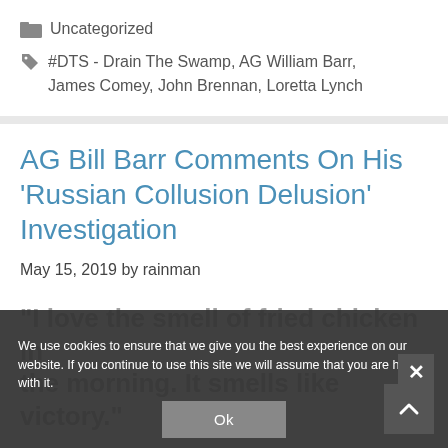Uncategorized
#DTS - Drain The Swamp, AG William Barr, James Comey, John Brennan, Loretta Lynch
AG Bill Barr Comments On His ‘Russian Collusion Delusion’ Investigation
May 15, 2019 by rainman
“I love the smell of fried chicken in the morning. It smells like victory.”
We use cookies to ensure that we give you the best experience on our website. If you continue to use this site we will assume that you are happy with it.